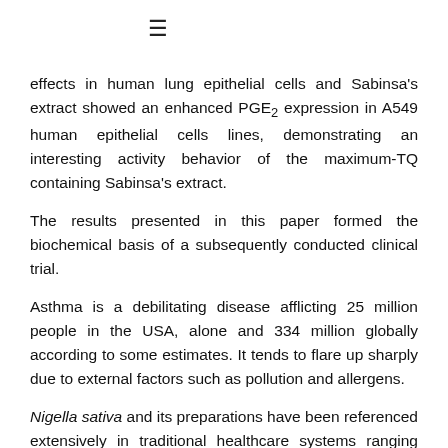≡
effects in human lung epithelial cells and Sabinsa's extract showed an enhanced PGE₂ expression in A549 human epithelial cells lines, demonstrating an interesting activity behavior of the maximum-TQ containing Sabinsa's extract.
The results presented in this paper formed the biochemical basis of a subsequently conducted clinical trial.
Asthma is a debilitating disease afflicting 25 million people in the USA, alone and 334 million globally according to some estimates. It tends to flare up sharply due to external factors such as pollution and allergens.
Nigella sativa and its preparations have been referenced extensively in traditional healthcare systems ranging from Ayurvedic and Unani to Arabic and Prophetic for